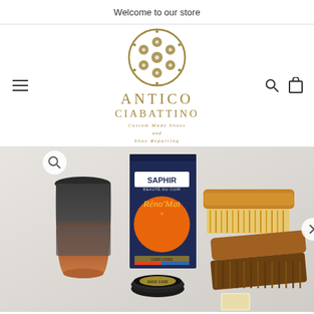Welcome to our store
[Figure (logo): Antico Ciabattino logo — circular ornamental emblem in gold with text 'Antico Ciabattino — Custom Made Shoes and Shoe Repairing']
[Figure (photo): Product photo showing shoe care items: Saphir Réno'Mat box, shoe polish tin, shoe brushes, and a takeaway cup, on a light grey background]